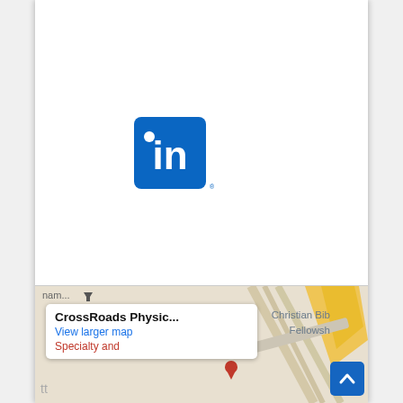[Figure (logo): LinkedIn logo — white 'in' text on blue rounded-square background]
[Figure (logo): YouTube logo — white play button on red rounded-square background]
[Figure (map): Google Maps partial screenshot showing CrossRoads Physic... location with 'View larger map' link and 'Specialty and...' text; Christian Bible Fellowship label visible top-right; road markings and yellow shape visible]
CrossRoads Physic...
View larger map
Specialty and
Christian Bible Fellowship